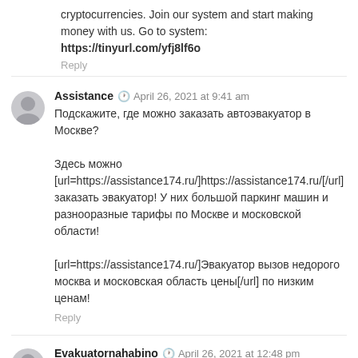cryptocurrencies. Join our system and start making money with us. Go to system:
https://tinyurl.com/yfj8lf6o
Reply
Assistance  April 26, 2021 at 9:41 am
Подскажите, где можно заказать автоэвакуатор в Москве?

Здесь можно [url=https://assistance174.ru/]https://assistance174.ru/[/url] заказать эвакуатор! У них большой паркинг машин и разнооразные тарифы по Москве и московской области!

[url=https://assistance174.ru/]Эвакуатор вызов недорого москва и московская область цены[/url] по низким ценам!
Reply
Evakuatornahabino  April 26, 2021 at 12:48 pm
Подскажите, где можно заказать автоэвакуатор в Москве?